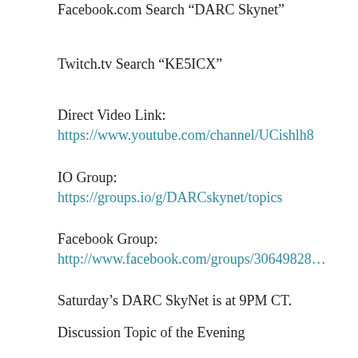Facebook.com Search “DARC Skynet”
Twitch.tv Search “KE5ICX”
Direct Video Link:
https://www.youtube.com/channel/UCishlh8
IO Group:
https://groups.io/g/DARCskynet/topics
Facebook Group:
http://www.facebook.com/groups/30649828…
Saturday’s DARC SkyNet is at 9PM CT.
Discussion Topic of the Evening
10 Things We Know About the X-37B